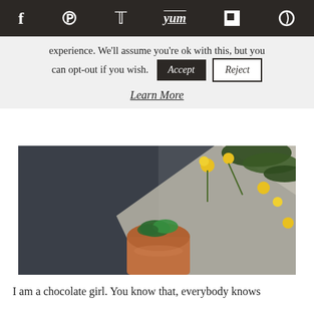[Social share icons: Facebook, Pinterest, Twitter, Yum, Flipboard, Other]
experience. We'll assume you're ok with this, but you can opt-out if you wish. [Accept] [Reject]
Learn More
[Figure (photo): Overhead food photography showing a cocktail or drink in a terracotta cup with fresh mint, surrounded by yellow flowers and green foliage on a dark slate background with a linen cloth]
I am a chocolate girl. You know that, everybody knows